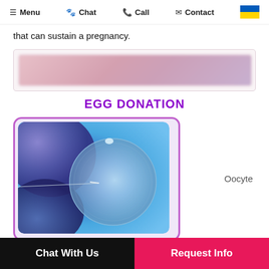Menu  Chat  Call  Contact
that can sustain a pregnancy.
[Figure (other): Blurred pink banner/advertisement strip]
EGG DONATION
[Figure (photo): Close-up microscope image of an oocyte (egg cell) being injected with a needle during IVF procedure, on blue background. Pink/purple border.]
Oocyte
donation is raised in couples where the woman has
Chat With Us    Request Info